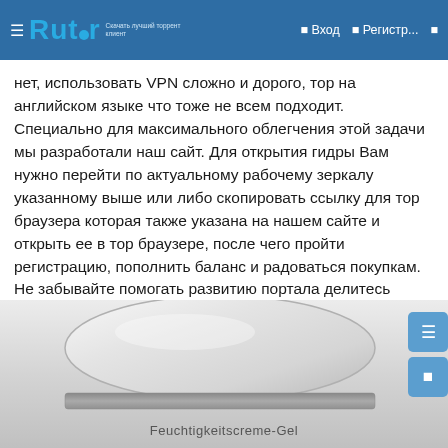Rutor | Вход | Регистр...
нет, использовать VPN сложно и дорого, тор на английском языке что тоже не всем подходит. Специально для максимального облегчения этой задачи мы разработали наш сайт. Для открытия гидры Вам нужно перейти по актуальному рабочему зеркалу указанному выше или либо скопировать ссылку для тор браузера которая также указана на нашем сайте и открыть ее в тор браузере, после чего пройти регистрацию, пополнить баланс и радоваться покупкам. Не забывайте помогать развитию портала делитесь нашим ресурсом с друзьями и знакомыми. Давайте вместе ответим на этот вопрос "как зайти на гидру"?
[Figure (photo): Close-up photo of a white/grey cosmetic cream jar lid with label Feuchtigkeitscreme-Gel]